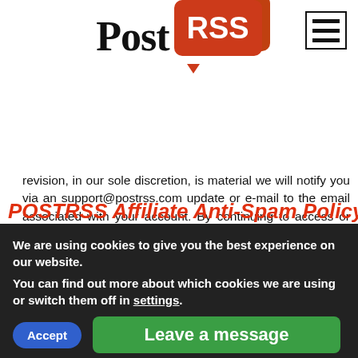[Figure (logo): PostRSS logo with 'Post' in black serif font and 'RSS' in white text on red speech bubble shape, with hamburger menu icon in top right]
revision, in our sole discretion, is material we will notify you via an support@postrss.com update or e-mail to the email associated with your account. By continuing to access or use the Services after those revisions become effective, you agree to be bound by the revised Terms.
These Services are operated and provided by PostRSS.com. If you have any questions about these Terms, please contact us at support@postrss.com.
POSTRSS Affiliate Anti-Spam Policy
We are using cookies to give you the best experience on our website.
You can find out more about which cookies we are using or switch them off in settings.